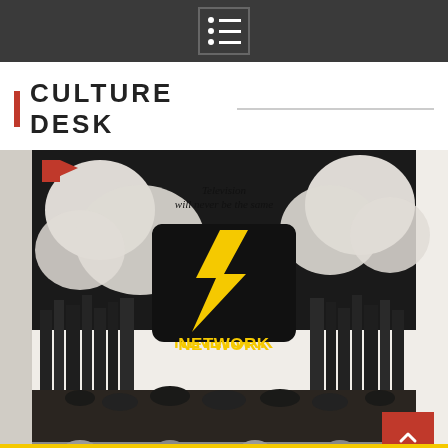Navigation menu icon
CULTURE DESK
[Figure (photo): Movie poster for Network (1976 film). Black and white illustration of a city skyline with crowds below. Center shows a black television set with a yellow lightning bolt and the word NETWORK in yellow text. Top reads 'Television will never be the same'. Bottom shows black-and-white photographic portraits of cast members. Yellow banner at very bottom reads 'FILM REVIEW: NETWORK (1976)'.]
FILM REVIEW: NETWORK (1976)